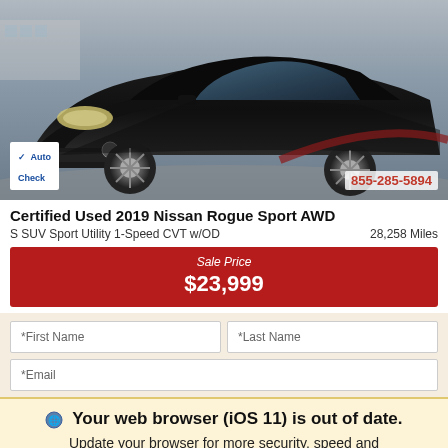[Figure (photo): Black Nissan Rogue Sport AWD SUV, front 3/4 view, photographed in a parking lot. AutoCheck badge in bottom-left corner, phone number 855-285-5894 in bottom-right corner.]
Certified Used 2019 Nissan Rogue Sport AWD
S SUV Sport Utility 1-Speed CVT w/OD   28,258 Miles
Sale Price $23,999
*First Name   *Last Name
*Email
Your web browser (iOS 11) is out of date. Update your browser for more security, speed and the best experience on this site.
Update browser   Ignore